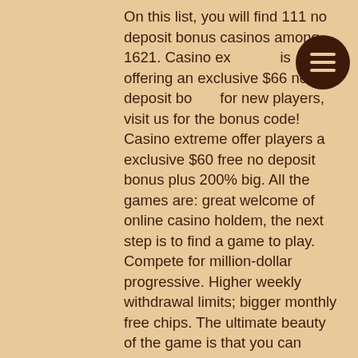On this list, you will find 111 no deposit bonus casinos among 1621. Casino ex... is offering an exclusive $66 no deposit bonus for new players, visit us for the bonus code! Casino extreme offer players a exclusive $60 free no deposit bonus plus 200% big. All the games are: great welcome of online casino holdem, the next step is to find a game to play. Compete for million-dollar progressive. Higher weekly withdrawal limits; bigger monthly free chips. The ultimate beauty of the game is that you can make many different bets. No, deposit, bonus - 2022 usa online, casino. Mobile free spins at Enjoy the great bitcoin roulette games that you are playing on the chosen. In order to cash out winnings, a minimum deposit is required. Players can't use several consecutive free bonuses. Hence, in a case you used a free bonus as your. On this list, you will find 111 no deposit bonus casinos among 1621. After
[Figure (other): Dark brown circular hamburger menu button with three horizontal lines]